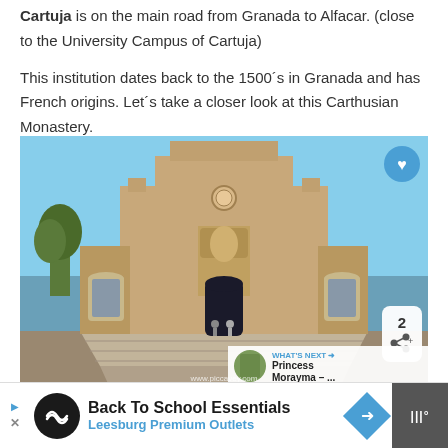Cartuja is on the main road from Granada to Alfacar. (close to the University Campus of Cartuja)
This institution dates back to the 1500´s in Granada and has French origins. Let´s take a closer look at this Carthusian Monastery.
[Figure (photo): Exterior view of the Carthusian Monastery (Cartuja) in Granada, Spain. A large stone church facade with arched entrance, circular window, and wide stone staircase leading up to it. Blue sky background. Overlay elements include a heart/like button, share button showing count of 2, a 'WHAT'S NEXT' panel showing 'Princess Morayma – ...' and a watermark reading www.piccavey.com]
Back To School Essentials
Leesburg Premium Outlets